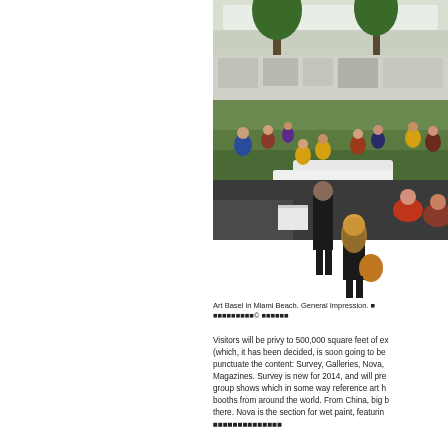[Figure (photo): Art Basel in Miami Beach indoor venue showing people sitting and relaxing on green grass areas inside a large exhibition hall with trees, white walls, and galleries in the background.]
Art Basel in Miami Beach. General Impression. ■■■■■■■■■■© ■■■■■■
Visitors will be privy to 500,000 square feet of ex (which, it has been decided, is soon going to be punctuate the content: Survey, Galleries, Nova, Magazines. Survey is new for 2014, and will pre group shows which in some way reference art h booths from around the world. From China, big b there. Nova is the section for wet paint, featurin